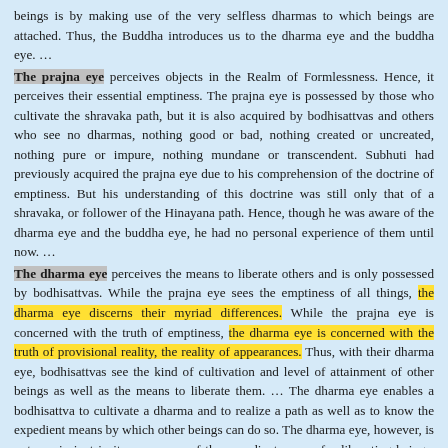beings is by making use of the very selfless dharmas to which beings are attached. Thus, the Buddha introduces us to the dharma eye and the buddha eye. …
The prajna eye perceives objects in the Realm of Formlessness. Hence, it perceives their essential emptiness. The prajna eye is possessed by those who cultivate the shravaka path, but it is also acquired by bodhisattvas and others who see no dharmas, nothing good or bad, nothing created or uncreated, nothing pure or impure, nothing mundane or transcendent. Subhuti had previously acquired the prajna eye due to his comprehension of the doctrine of emptiness. But his understanding of this doctrine was still only that of a shravaka, or follower of the Hinayana path. Hence, though he was aware of the dharma eye and the buddha eye, he had no personal experience of them until now. …
The dharma eye perceives the means to liberate others and is only possessed by bodhisattvas. While the prajna eye sees the emptiness of all things, the dharma eye discerns their myriad differences. While the prajna eye is concerned with the truth of emptiness, the dharma eye is concerned with the truth of provisional reality, the reality of appearances. Thus, with their dharma eye, bodhisattvas see the kind of cultivation and level of attainment of other beings as well as the means to liberate them. … The dharma eye enables a bodhisattva to cultivate a dharma and to realize a path as well as to know the expedient means by which other beings can do so. The dharma eye, however, is not omniscient in its awareness of the expedient means for liberating beings. Hence, a bodhisattva seeks the buddha eye. …
The buddha eye sees everything, including whatever is seen by the other four eyes. It not only sees things in the present, it also sees them in the past and in the future. With their prajna eye, buddhas see the emptiness [T1 & T2] of all things,